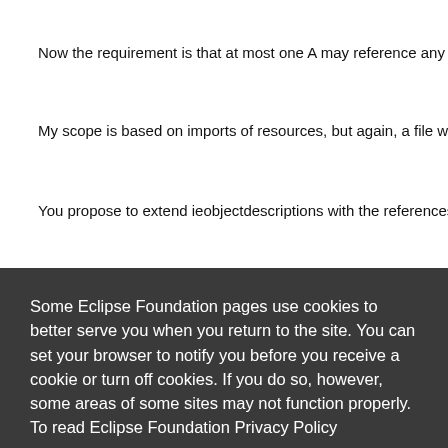Now the requirement is that at most one A may reference any B. S…
My scope is based on imports of resources, but again, a file with A…
You propose to extend ieobjectdescriptions with the references a…
…tion to th…
…e #17608…
Some Eclipse Foundation pages use cookies to better serve you when you return to the site. You can set your browser to notify you before you receive a cookie or turn off cookies. If you do so, however, some areas of some sites may not function properly. To read Eclipse Foundation Privacy Policy click here.
My settings is: There are elements of type A which may reference…